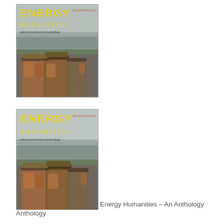[Figure (photo): Book cover of 'Energy Humanities: An Anthology' showing rusted industrial tanks near water, with yellow title text]
[Figure (photo): Second instance of the same book cover of 'Energy Humanities: An Anthology' showing rusted industrial tanks near water, with yellow title text]
Energy Humanities – An Anthology